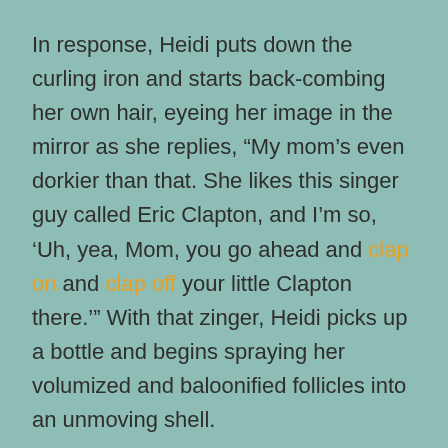In response, Heidi puts down the curling iron and starts back-combing her own hair, eyeing her image in the mirror as she replies, “My mom’s even dorkier than that. She likes this singer guy called Eric Clapton, and I’m so, ‘Uh, yea, Mom, you go ahead and clap on and clap off your little Clapton there.’” With that zinger, Heidi picks up a bottle and begins spraying her volumized and baloonified follicles into an unmoving shell.
During this exchange, Chairbound Client has watched, first, with fascination, tutting inwardly, “My, my doesn’t life present a rich pageant?”